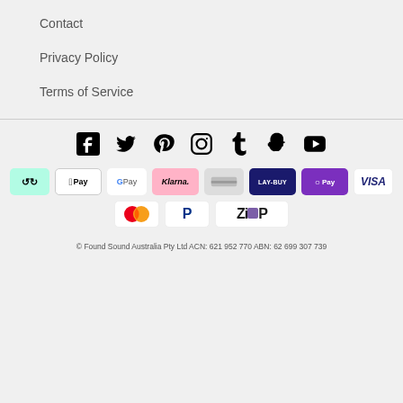Contact
Privacy Policy
Terms of Service
[Figure (infographic): Social media icons row: Facebook, Twitter, Pinterest, Instagram, Tumblr, Snapchat, YouTube]
[Figure (infographic): Payment method logos: Afterpay, Apple Pay, Google Pay, Klarna, generic card, Laybuy, Openpay, Visa, Mastercard, PayPal, Zip]
© Found Sound Australia Pty Ltd ACN: 621 952 770 ABN: 62 699 307 739